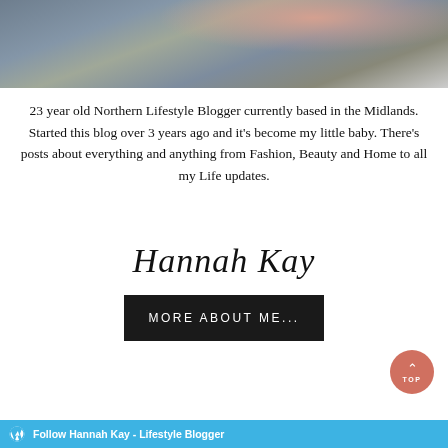[Figure (photo): Partial photo of a person wearing denim jacket, cropped at top of frame showing torso and hand]
23 year old Northern Lifestyle Blogger currently based in the Midlands. Started this blog over 3 years ago and it's become my little baby. There's posts about everything and anything from Fashion, Beauty and Home to all my Life updates.
Hannah Kay
MORE ABOUT ME...
Follow Hannah Kay - Lifestyle Blogger